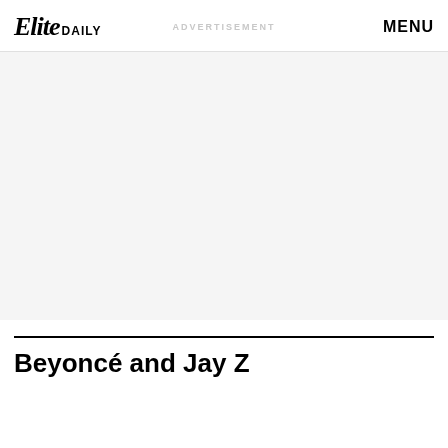Elite DAILY  ADVERTISEMENT  MENU
[Figure (other): Advertisement placeholder area with light gray background]
Beyoncé and Jay Z